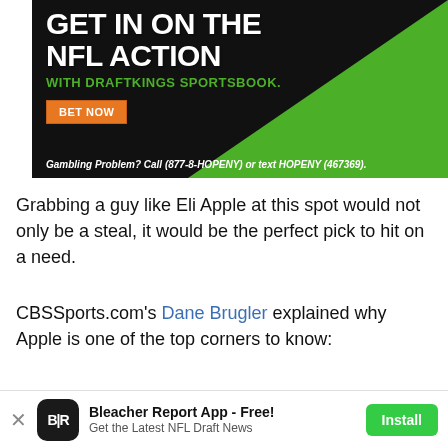[Figure (infographic): DraftKings Sportsbook advertisement with dark background and green triangle shape. Text reads 'GET IN ON THE NFL ACTION' with 'WITH DRAFTKINGS SPORTSBOOK.' in green. Orange 'BET NOW' button visible. Disclaimer: 'Gambling Problem? Call (877-8-HOPENY) or text HOPENY (467369).']
Grabbing a guy like Eli Apple at this spot would not only be a steal, it would be the perfect pick to hit on a need.
CBSSports.com's Dane Brugler explained why Apple is one of the top corners to know:
Apple possesses several traits for
[Figure (logo): Bleacher Report app icon — dark rounded square with 'B|R' text in white]
Bleacher Report App - Free! Get the Latest NFL Draft News